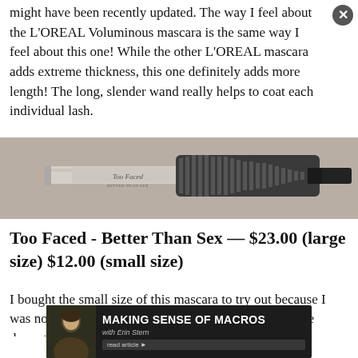might have been recently updated. The way I feel about the L'OREAL Voluminous mascara is the same way I feel about this one! While the other L'OREAL mascara adds extreme thickness, this one definitely adds more length! The long, slender wand really helps to coat each individual lash.
[Figure (photo): Two mascara wands/tubes against a warm gray background. Left side shows a Too Faced mascara tube with brush visible. Right side shows a close-up of a mascara wand bristle head.]
Too Faced - Better Than Sex — $23.00 (large size) $12.00 (small size)
I bought the small size of this mascara to try out because I was not sure how I would like it. If you love an extreme dramatic eyelash, pick this baby up now! I am all about a thick spider lash (it's just my thing) and my lashes look 100 percent fuller plus more voluminous with this mascara on! The unique shape of the wand truly coats the lashes with a super thick appearance. This
[Figure (infographic): Advertisement banner: MAKING SENSE OF MACROS with Erin Stern. Dark background with a woman's photo on the left and a 'read article' button on the right.]